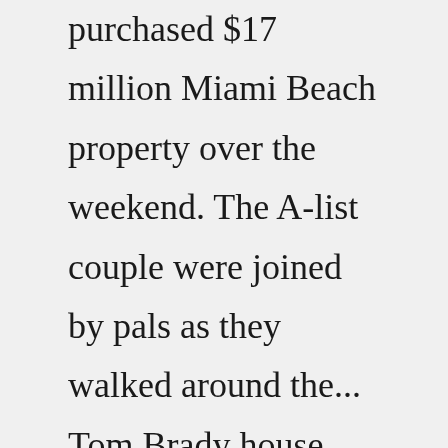purchased $17 million Miami Beach property over the weekend. The A-list couple were joined by pals as they walked around the... Tom Brady house next to The Country Club for sale at $39.5 million Subscribe Pro Leaderboard Tee Times Money Leaders Sportsbookwire Betting odds PGA Tour LPGA DP World Tour Forward Press podcast...In a video released this week alongside her July 2018 cover interview, the Brazilian-born mom took